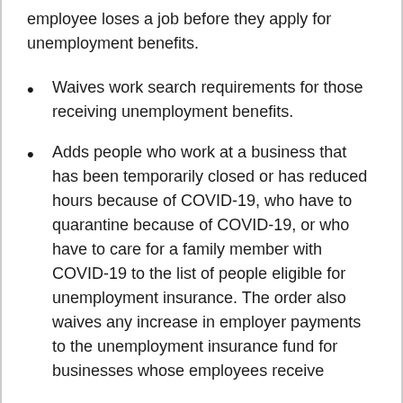employee loses a job before they apply for unemployment benefits.
Waives work search requirements for those receiving unemployment benefits.
Adds people who work at a business that has been temporarily closed or has reduced hours because of COVID-19, who have to quarantine because of COVID-19, or who have to care for a family member with COVID-19 to the list of people eligible for unemployment insurance. The order also waives any increase in employer payments to the unemployment insurance fund for businesses whose employees receive